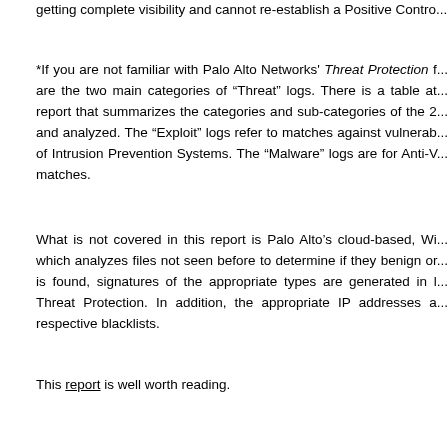getting complete visibility and cannot re-establish a Positive Contro...
*If you are not familiar with Palo Alto Networks' Threat Protection f... are the two main categories of "Threat" logs. There is a table at... report that summarizes the categories and sub-categories of the 2... and analyzed. The "Exploit" logs refer to matches against vulnerab... of Intrusion Prevention Systems. The "Malware" logs are for Anti-V... matches.
What is not covered in this report is Palo Alto's cloud-based, Wi... which analyzes files not seen before to determine if they benign or... is found, signatures of the appropriate types are generated in l... Threat Protection. In addition, the appropriate IP addresses a... respective blacklists.
This report is well worth reading.